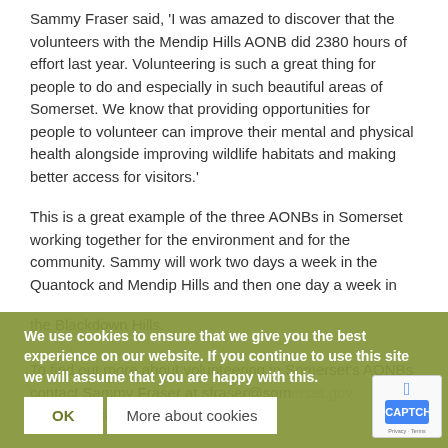Sammy Fraser said, 'I was amazed to discover that the volunteers with the Mendip Hills AONB did 2380 hours of effort last year. Volunteering is such a great thing for people to do and especially in such beautiful areas of Somerset. We know that providing opportunities for people to volunteer can improve their mental and physical health alongside improving wildlife habitats and making better access for visitors.'
This is a great example of the three AONBs in Somerset working together for the environment and for the community. Sammy will work two days a week in the Quantock and Mendip Hills and then one day a week in the Blackdown Hills.
To find out more about volunteering in Somerset's AONBs contact Sammy Fraser at sfraser@somerset.gov.uk or visit mendiphillsaonb.org.uk/volunteering,
We use cookies to ensure that we give you the best experience on our website. If you continue to use this site we will assume that you are happy with this.